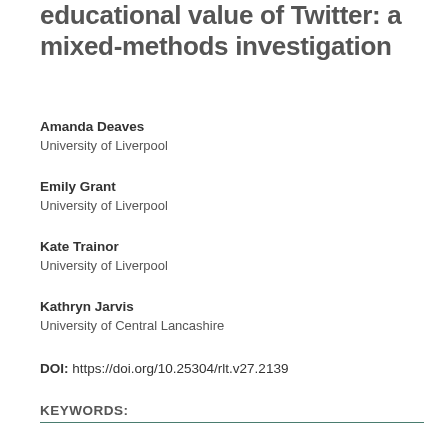educational value of Twitter: a mixed-methods investigation
Amanda Deaves
University of Liverpool
Emily Grant
University of Liverpool
Kate Trainor
University of Liverpool
Kathryn Jarvis
University of Central Lancashire
DOI: https://doi.org/10.25304/rlt.v27.2139
KEYWORDS: